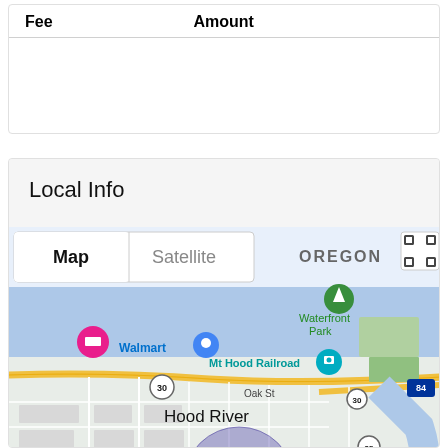| Fee | Amount |
| --- | --- |
Local Info
[Figure (map): Google Map showing Hood River, Oregon area with Map/Satellite toggle, location pin marker, Walmart, Waterfront Park, Mt Hood Railroad labels, roads including Highway 30, 35, and 84, Columbia River, and a blue-purple circle indicating approximate property location near 12th St and 13th St.]